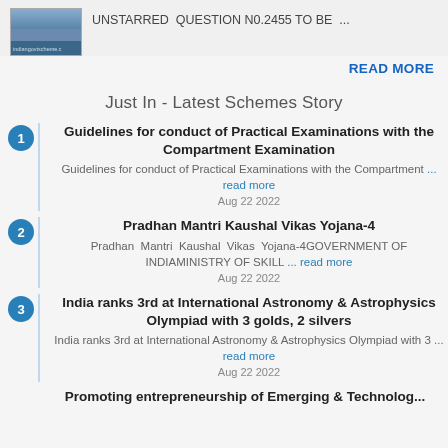[Figure (screenshot): Top banner with railway station image thumbnail and text 'UNSTARRED QUESTION N0.2455 TO BE ...' alongside 'indiangovtscheme.c' watermark]
READ MORE
Just In - Latest Schemes Story
Guidelines for conduct of Practical Examinations with the Compartment Examination
Guidelines for conduct of Practical Examinations with the Compartment ... read more
Aug 22 2022
Pradhan Mantri Kaushal Vikas Yojana-4
Pradhan Mantri Kaushal Vikas Yojana-4GOVERNMENT OF INDIAMINISTRY OF SKILL ... read more
Aug 22 2022
India ranks 3rd at International Astronomy & Astrophysics Olympiad with 3 golds, 2 silvers
India ranks 3rd at International Astronomy & Astrophysics Olympiad with 3 ... read more
Aug 22 2022
Promoting entrepreneurship of Emerging & Technology...